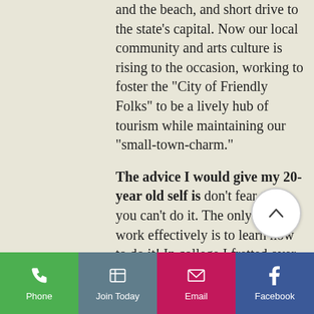and the beach, and short drive to the state's capital. Now our local community and arts culture is rising to the occasion, working to foster the “City of Friendly Folks” to be a lively hub of tourism while maintaining our “small-town-charm.”
The advice I would give my 20-year old self is don’t fear that you can’t do it. The only way work effectively is to learn how to do it! In college I fretted over what my career path would be because I was afraid I wouldn’t be adequate or that I lacked the knowledge to effectively hold a position. Over the last ten years I’ve had to learn to leave that fear.